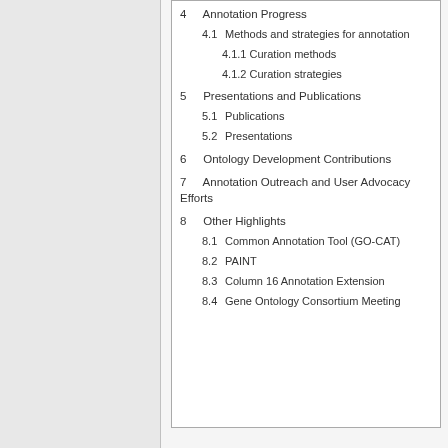4  Annotation Progress
4.1  Methods and strategies for annotation
4.1.1  Curation methods
4.1.2  Curation strategies
5  Presentations and Publications
5.1  Publications
5.2  Presentations
6  Ontology Development Contributions
7  Annotation Outreach and User Advocacy Efforts
8  Other Highlights
8.1  Common Annotation Tool (GO-CAT)
8.2  PAINT
8.3  Column 16 Annotation Extension
8.4  Gene Ontology Consortium Meeting